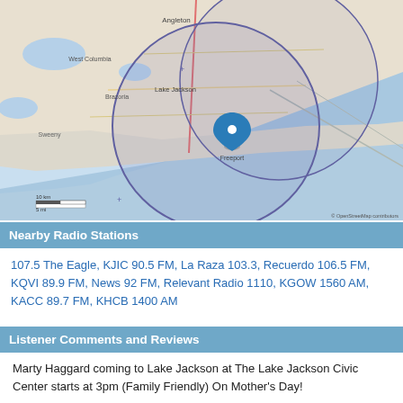[Figure (map): OpenStreetMap showing coastal Texas area around Lake Jackson and Brazoria County, with a circular radius overlay centered near Lake Jackson. A blue map pin is placed near Lake Jackson. Area shows Angleton, West Columbia, Brazoria, Freeport, and the Gulf Coast. Scale bar showing 10km/5mi. Attribution: © OpenStreetMap contributors.]
Nearby Radio Stations
107.5 The Eagle, KJIC 90.5 FM, La Raza 103.3, Recuerdo 106.5 FM, KQVI 89.9 FM, News 92 FM, Relevant Radio 1110, KGOW 1560 AM, KACC 89.7 FM, KHCB 1400 AM
Listener Comments and Reviews
Marty Haggard coming to Lake Jackson at The Lake Jackson Civic Center starts at 3pm (Family Friendly) On Mother's Day!